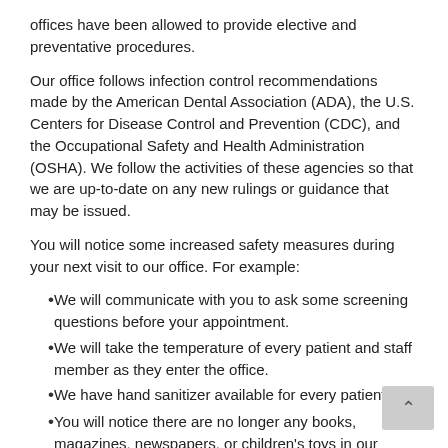offices have been allowed to provide elective and preventative procedures.
Our office follows infection control recommendations made by the American Dental Association (ADA), the U.S. Centers for Disease Control and Prevention (CDC), and the Occupational Safety and Health Administration (OSHA). We follow the activities of these agencies so that we are up-to-date on any new rulings or guidance that may be issued.
You will notice some increased safety measures during your next visit to our office. For example:
We will communicate with you to ask some screening questions before your appointment.
We will take the temperature of every patient and staff member as they enter the office.
We have hand sanitizer available for every patient.
You will notice there are no longer any books, magazines, newspapers, or children's toys in our reception area since these items are difficult to clean and disinfect.